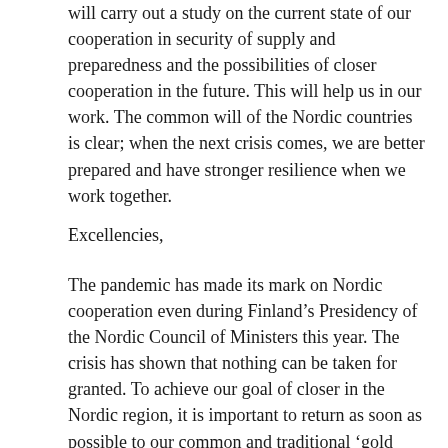will carry out a study on the current state of our cooperation in security of supply and preparedness and the possibilities of closer cooperation in the future. This will help us in our work. The common will of the Nordic countries is clear; when the next crisis comes, we are better prepared and have stronger resilience when we work together.
Excellencies,
The pandemic has made its mark on Nordic cooperation even during Finland's Presidency of the Nordic Council of Ministers this year. The crisis has shown that nothing can be taken for granted. To achieve our goal of closer in the Nordic region, it is important to return as soon as possible to our common and traditional 'gold standard' – freedom of movement in the Nordic region. There is an abundance of other matters, too, where we can learn from the past year, seek common solutions and